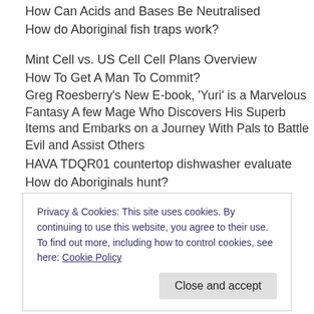How Can Acids and Bases Be Neutralised
How do Aboriginal fish traps work?
Mint Cell vs. US Cell Cell Plans Overview
How To Get A Man To Commit?
Greg Roesberry's New E-book, 'Yuri' is a Marvelous Fantasy A few Mage Who Discovers His Superb Items and Embarks on a Journey With Pals to Battle Evil and Assist Others
HAVA TDQR01 countertop dishwasher evaluate
How do Aboriginals hunt?
Privacy & Cookies: This site uses cookies. By continuing to use this website, you agree to their use.
To find out more, including how to control cookies, see here: Cookie Policy
Close and accept